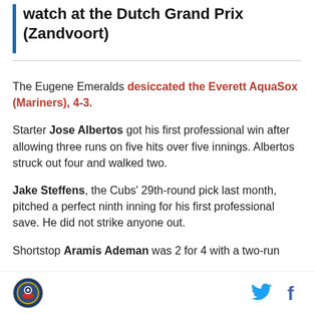watch at the Dutch Grand Prix (Zandvoort)
The Eugene Emeralds desiccated the Everett AquaSox (Mariners), 4-3.
Starter Jose Albertos got his first professional win after allowing three runs on five hits over five innings. Albertos struck out four and walked two.
Jake Steffens, the Cubs' 29th-round pick last month, pitched a perfect ninth inning for his first professional save. He did not strike anyone out.
Shortstop Aramis Ademan was 2 for 4 with a two-run
[logo] [twitter] [facebook]